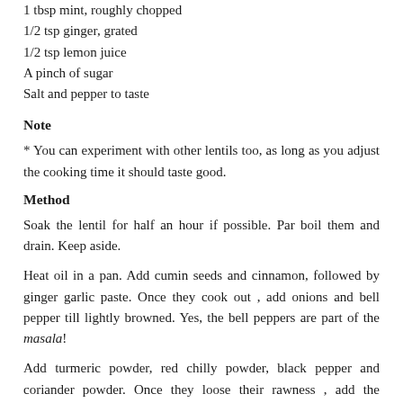1 tbsp mint, roughly chopped
1/2 tsp ginger, grated
1/2 tsp lemon juice
A pinch of sugar
Salt and pepper to taste
Note
* You can experiment with other lentils too, as long as you adjust the cooking time it should taste good.
Method
Soak the lentil for half an hour if possible. Par boil them and drain. Keep aside.
Heat oil in a pan. Add cumin seeds and cinnamon, followed by ginger garlic paste. Once they cook out , add onions and bell pepper till lightly browned. Yes, the bell peppers are part of the masala!
Add turmeric powder, red chilly powder, black pepper and coriander powder. Once they loose their rawness , add the tomatoes and cook till it forms into a paste.
Add the lentils. . .